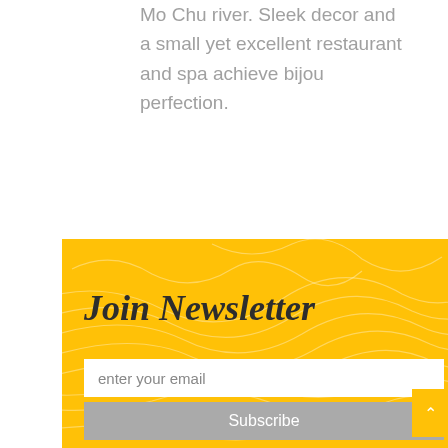Mo Chu river. Sleek decor and a small yet excellent restaurant and spa achieve bijou perfection.
Join Newsletter
enter your email
Subscribe